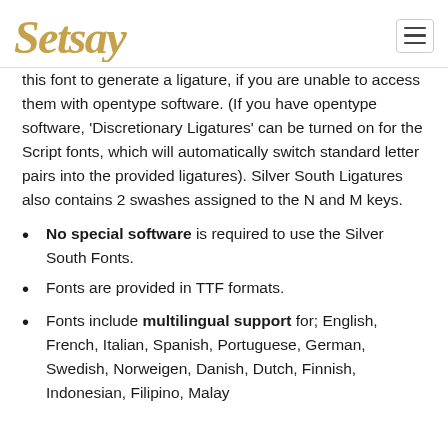Setsay [logo] [hamburger menu]
this font to generate a ligature, if you are unable to access them with opentype software. (If you have opentype software, 'Discretionary Ligatures' can be turned on for the Script fonts, which will automatically switch standard letter pairs into the provided ligatures). Silver South Ligatures also contains 2 swashes assigned to the N and M keys.
No special software is required to use the Silver South Fonts.
Fonts are provided in TTF formats.
Fonts include multilingual support for; English, French, Italian, Spanish, Portuguese, German, Swedish, Norweigen, Danish, Dutch, Finnish, Indonesian, Filipino, Malay